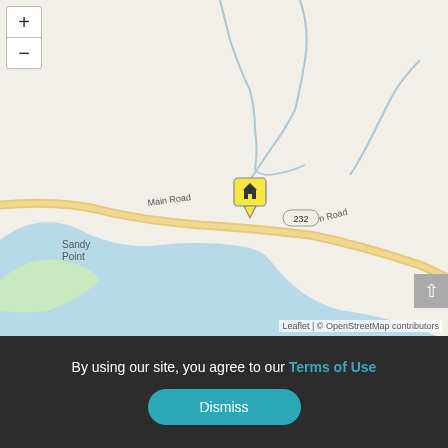[Figure (map): OpenStreetMap showing Sandy Point area with Main Road and road 232 labeled. A yellow house marker pin is visible at the intersection. Water body (bay) shown in light blue. Zoom in/out controls at top left. Leaflet | © OpenStreetMap contributors attribution at bottom right.]
By using our site, you agree to our Terms of Use
Dismiss